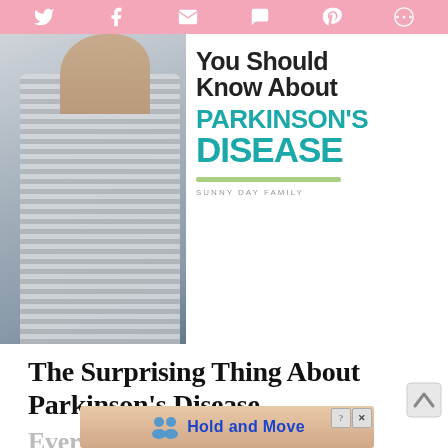[Figure (screenshot): Pink social media share bar with icons for Twitter, Facebook, Email, SMS, Pinterest, and More]
[Figure (photo): Hero image: person in grey striped shirt on left, white panel on right with bold text reading 'You Should Know About PARKINSON'S DISEASE' in black and teal, with 'SUNNY DAY FAMILY' branding]
The Surprising Thing About Parkinson's Disease
Every
[Figure (screenshot): Advertisement overlay with 'Hold and Move' text and close/help buttons]